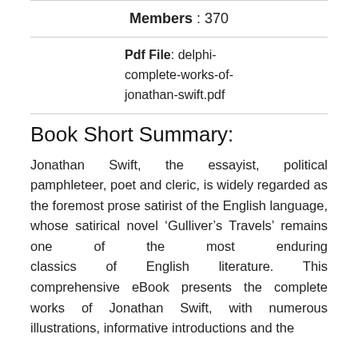Members : 370
Pdf File: delphi-complete-works-of-jonathan-swift.pdf
Book Short Summary:
Jonathan Swift, the essayist, political pamphleteer, poet and cleric, is widely regarded as the foremost prose satirist of the English language, whose satirical novel ‘Gulliver’s Travels’ remains one of the most enduring classics of English literature. This comprehensive eBook presents the complete works of Jonathan Swift, with numerous illustrations, informative introductions and the